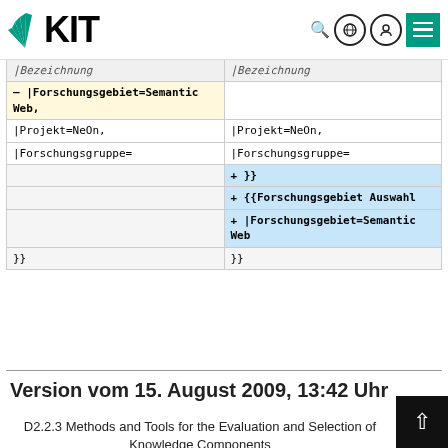[Figure (logo): KIT logo with fan icon and bold KIT text, plus navigation icons (search, globe, user, menu)]
| (left diff) | (right diff) |
| --- | --- |
| |Bezeichnung | |Bezeichnung |
| – |Forschungsgebiet=Semantic Web, |  |
| |Projekt=NeOn, | |Projekt=NeOn, |
| |Forschungsgruppe= | |Forschungsgruppe= |
|  | + }} |
|  | + {{Forschungsgebiet Auswahl |
|  | + |Forschungsgebiet=Semantic Web |
| }} | }} |
Version vom 15. August 2009, 13:42 Uhr
D2.2.3 Methods and Tools for the Evaluation and Selection of Knowledge Components